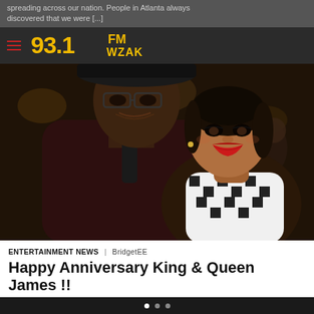spreading across our nation. People in Atlanta always discovered that we were [...]
[Figure (logo): 93.1 FM WZAK radio station logo in yellow and gold text on dark background]
[Figure (photo): Two people smiling at a formal event — a tall man wearing glasses and a dark sweater with a tie, and a woman in a patterned scarf with red lipstick]
ENTERTAINMENT NEWS | BridgetEE
Happy Anniversary King & Queen James !!
Let us all rejoice in wishing a Happy Anniversary to Just Those Kids From Akron, King and Queen, LeBron and Savannah James. The ride or die, happy couple that were high school sweethearts from Akron, Ohio graduated from high school in 2003. From there